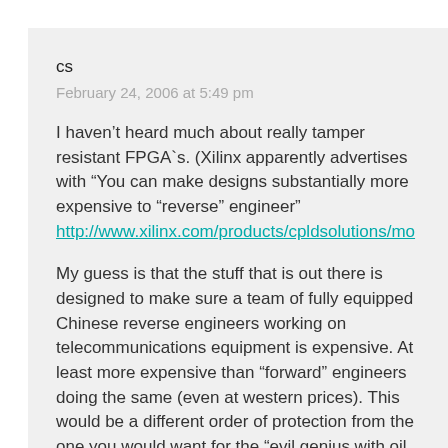cs
February 24, 2006 at 5:49 pm
I haven't heard much about really tamper resistant FPGA`s. (Xilinx apparently advertises with “You can make designs substantially more expensive to “reverse” engineer”
http://www.xilinx.com/products/cpldsolutions/mo
My guess is that the stuff that is out there is designed to make sure a team of fully equipped Chinese reverse engineers working on telecommunications equipment is expensive. At least more expensive than “forward” engineers doing the same (even at western prices). This would be a different order of protection from the one you would want for the “evil genius with oil